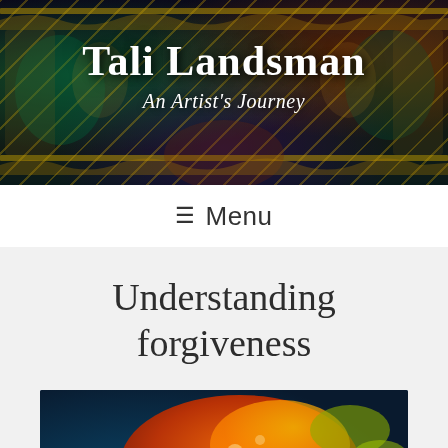[Figure (photo): Decorative banner header with ornate colorful Balinese/Asian temple artwork background in dark tones with gold, green, red patterns]
Tali Landsman
An Artist's Journey
≡ Menu
Understanding forgiveness
[Figure (photo): Colorful abstract artwork featuring a butterfly or fish with orange, red, blue, and yellow hues — likely an encaustic or mixed media painting]